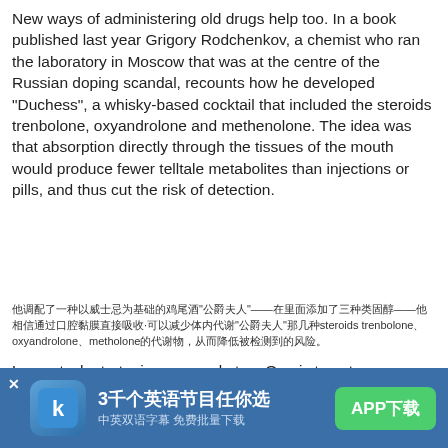New ways of administering old drugs help too. In a book published last year Grigory Rodchenkov, a chemist who ran the laboratory in Moscow that was at the centre of the Russian doping scandal, recounts how he developed "Duchess", a whisky-based cocktail that included the steroids trenbolone, oxyandrolone and methenolone. The idea was that absorption directly through the tissues of the mouth would produce fewer telltale metabolites than injections or pills, and thus cut the risk of detection.
Chinese translation of the above paragraph about Duchess cocktail and steroids trenbolone, oxyandrolone, metholone.
Lower-tech strategies can work, too. One is to get a therapeutic use exemption (TUE)—a doctor's note saying you need a drug for medical reasons. WADA insists that TUES are granted only after rigorous checks. A paper from
found no evidence that athletes with TUEs were more likely...
[Figure (screenshot): Blue advertisement banner at bottom: app icon with K logo, Chinese text '3千个英语节目任你选' (3000 English programs), subtitle '中英双语字幕 免费批量下载', green button 'APP下载']